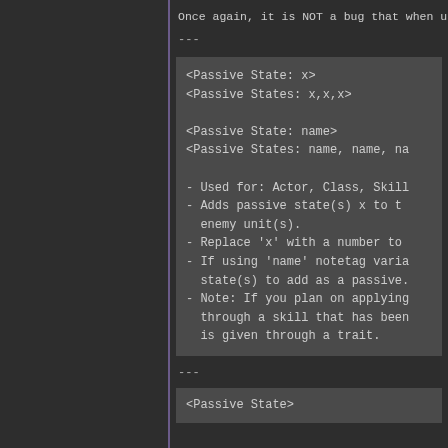Once again, it is NOT a bug that when using
---
<Passive State: x>
<Passive States: x,x,x>

<Passive State: name>
<Passive States: name, name, na

- Used for: Actor, Class, Skill
- Adds passive state(s) x to t
  enemy unit(s).
- Replace 'x' with a number to
- If using 'name' notetag vari
  state(s) to add as a passive.
- Note: If you plan on applying
  through a skill that has beer
  is given through a trait.
---
<Passive State>